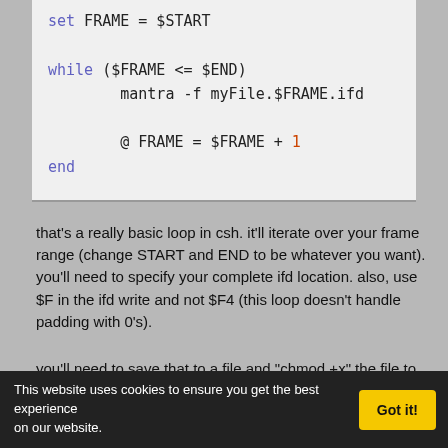set FRAME = $START

while ($FRAME <= $END)
    mantra -f myFile.$FRAME.ifd

    @ FRAME = $FRAME + 1
end
that's a really basic loop in csh.  it'll iterate over your frame range (change START and END to be whatever you want).  you'll need to specify your complete ifd location.  also, use $F in the ifd write and not $F4 (this loop doesn't handle padding with 0's).
you'll need to save that to a file and "chmod +x" the file to make it executable.
This website uses cookies to ensure you get the best experience on our website.